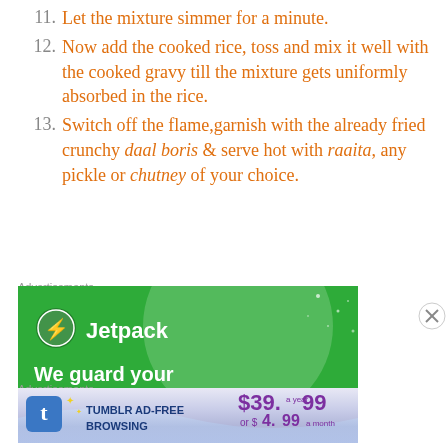11. Let the mixture simmer for a minute.
12. Now add the cooked rice, toss and mix it well with the cooked gravy till the mixture gets uniformly absorbed in the rice.
13. Switch off the flame,garnish with the already fried crunchy daal boris & serve hot with raaita, any pickle or chutney of your choice.
Advertisements
[Figure (other): Jetpack advertisement banner: green background with circle highlight, Jetpack logo and text 'We guard your WordPress site.']
Advertisements
[Figure (other): Tumblr Ad-Free Browsing advertisement: $39.99 a year or $4.99 a month]